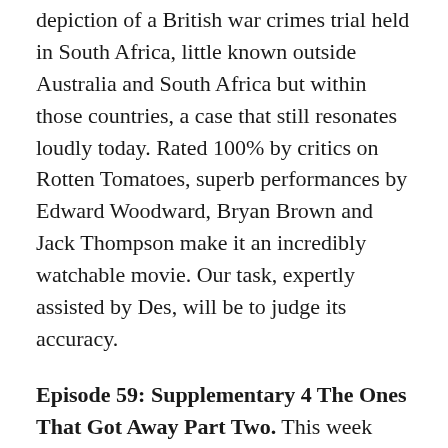depiction of a British war crimes trial held in South Africa, little known outside Australia and South Africa but within those countries, a case that still resonates loudly today. Rated 100% by critics on Rotten Tomatoes, superb performances by Edward Woodward, Bryan Brown and Jack Thompson make it an incredibly watchable movie. Our task, expertly assisted by Des, will be to judge its accuracy.
Episode 59: Supplementary 4 The Ones That Got Away Part Two. This week sees Martin flying solo as we bring you our second batch of movies that didn't quite make the cut for a full episode. We are covering the following movies, each with their start time in case you want to skip ahead: